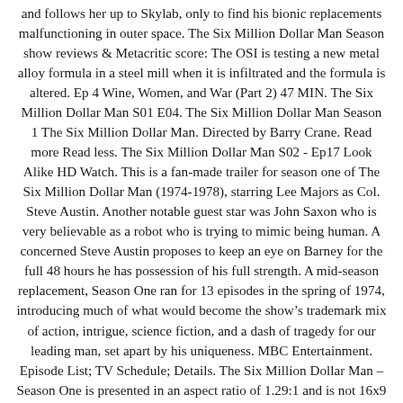and follows her up to Skylab, only to find his bionic replacements malfunctioning in outer space. The Six Million Dollar Man Season show reviews & Metacritic score: The OSI is testing a new metal alloy formula in a steel mill when it is infiltrated and the formula is altered. Ep 4 Wine, Women, and War (Part 2) 47 MIN. The Six Million Dollar Man S01 E04. The Six Million Dollar Man Season 1 The Six Million Dollar Man. Directed by Barry Crane. Read more Read less. The Six Million Dollar Man S02 - Ep17 Look Alike HD Watch. This is a fan-made trailer for season one of The Six Million Dollar Man (1974-1978), starring Lee Majors as Col. Steve Austin. Another notable guest star was John Saxon who is very believable as a robot who is trying to mimic being human. A concerned Steve Austin proposes to keep an eye on Barney for the full 48 hours he has possession of his full strength. A mid-season replacement, Season One ran for 13 episodes in the spring of 1974, introducing much of what would become the show’s trademark mix of action, intrigue, science fiction, and a dash of tragedy for our leading man, set apart by his uniqueness. MBC Entertainment. Episode List; TV Schedule; Details. The Six Million Dollar Man – Season One is presented in an aspect ratio of 1.29:1 and is not 16x9 enhanced. When Steve and Oscar investigate the death of the entire population of a small town, they are contacted by a scientist, once employed by the government, who is set on revenge for past grievances. Season 1, Episode 1. Episode Recap The Six Million Dollar Man on TV.com. Leaving a restaurant around midnight,